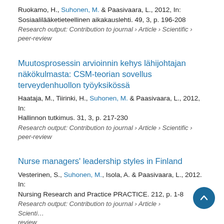Ruokamo, H., Suhonen, M. & Paasivaara, L., 2012, In: Sosiaalilääketieteellinen aikakauslehti. 49, 3, p. 196-208
Research output: Contribution to journal › Article › Scientific › peer-review
Muutosprosessin arvioinnin kehys lähijohtajan näkökulmasta: CSM-teorian sovellus terveydenhuollon työyksikössä
Haataja, M., Tiirinki, H., Suhonen, M. & Paasivaara, L., 2012, In: Hallinnon tutkimus. 31, 3, p. 217-230
Research output: Contribution to journal › Article › Scientific › peer-review
Nurse managers' leadership styles in Finland
Vesterinen, S., Suhonen, M., Isola, A. & Paasivaara, L., 2012. In: Nursing Research and Practice PRACTICE. 212, p. 1-8
Research output: Contribution to journal › Article › Scientific › peer-review
a Open Access